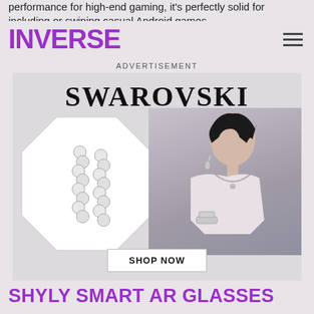performance for high-end gaming, it's perfectly solid for including or swiping casual Android games.
INVERSE
ADVERTISEMENT
[Figure (photo): Swarovski advertisement featuring the brand name in large serif font, crystal jewelry on the left side, and a model wearing Swarovski jewelry on the right side, with a SHOP NOW button at the bottom.]
SHYLY SMART AR GLASSES